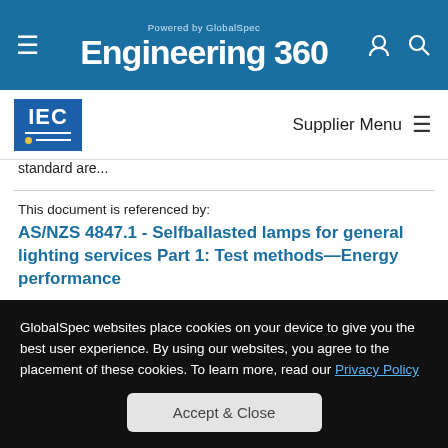Powered by GlobalSpec Engineering 360
[Figure (logo): IEC logo - blue square with IEC text and dot-line symbol]
Supplier Menu
standard are...
This document is referenced by:
AS/NZS 4847.1 - Selfballasted lamps for general lighting services Part 1: Test methods—Energy performance
Published by SNZ on May 21, 2010
This Standard specifies the test methods and conditions for self-
GlobalSpec websites place cookies on your device to give you the best user experience. By using our websites, you agree to the placement of these cookies. To learn more, read our Privacy Policy
Accept & Close